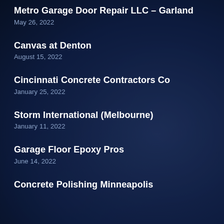Metro Garage Door Repair LLC – Garland
May 26, 2022
Canvas at Denton
August 15, 2022
Cincinnati Concrete Contractors Co
January 25, 2022
Storm International (Melbourne)
January 11, 2022
Garage Floor Epoxy Pros
June 14, 2022
Concrete Polishing Minneapolis